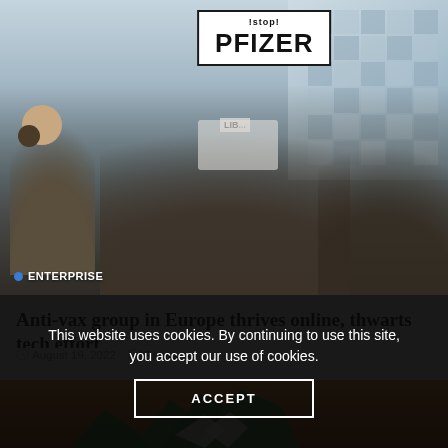[Figure (photo): Protest crowd holding a large sign reading 'PFIZER' and a partially visible sign reading 'LIB...'. Multiple people bundled in winter coats are visible in the foreground. A glass-facade building is in the background on the right. An 'ENTERPRISE' badge with a blue dot appears at the bottom left of the image.]
Anti-vax group in Europe thrives online, thwarts tech effort
August 19, 2022   Enterprise
[Figure (illustration): Partial view of an illustration with orange/red background and green tent or origami-like shapes visible at the bottom.]
This website uses cookies. By continuing to use this site, you accept our use of cookies.
ACCEPT